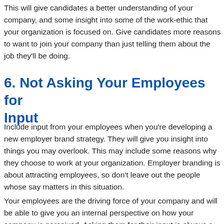This will give candidates a better understanding of your company, and some insight into some of the work-ethic that your organization is focused on. Give candidates more reasons to want to join your company than just telling them about the job they'll be doing.
6. Not Asking Your Employees for Input
Include input from your employees when you're developing a new employer brand strategy. They will give you insight into things you may overlook. This may include some reasons why they choose to work at your organization. Employer branding is about attracting employees, so don't leave out the people whose say matters in this situation.
Your employees are the driving force of your company and will be able to give you an internal perspective on how your company is perceived. Asking them for their input is always a good idea.